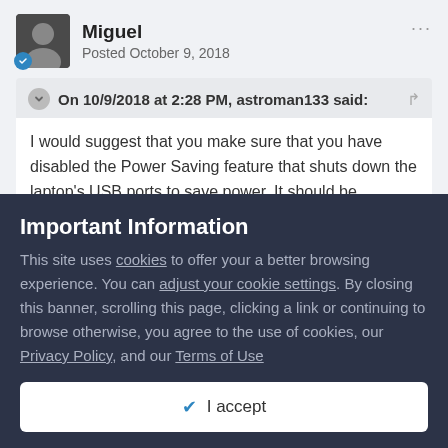Miguel
Posted October 9, 2018
On 10/9/2018 at 2:28 PM, astroman133 said:
I would suggest that you make sure that you have disabled the Power Saving feature that shuts down the laptop's USB ports to save power. It should be available via the Control Panel.
Important Information
This site uses cookies to offer your a better browsing experience. You can adjust your cookie settings. By closing this banner, scrolling this page, clicking a link or continuing to browse otherwise, you agree to the use of cookies, our Privacy Policy, and our Terms of Use
✔ I accept